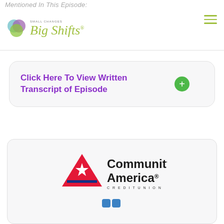Mentioned In This Episode:
[Figure (logo): Small Changes Big Shifts podcast logo with overlapping colored circles and script text]
Click Here To View Written Transcript of Episode
[Figure (logo): Community America Credit Union logo with blue triangle and red stripes star emblem]